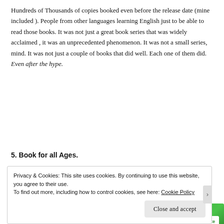Hundreds of Thousands of copies booked even before the release date (mine included ). People from other languages learning English just to be able to read those books. It was not just a great book series that was widely acclaimed , it was an unprecedented phenomenon. It was not a small series, mind. It was not just a couple of books that did well. Each one of them did. Even after the hype.
[Figure (other): Jetpack advertisement banner with green background showing Jetpack logo and 'Back up your site' button]
5. Book for all Ages.
Privacy & Cookies: This site uses cookies. By continuing to use this website, you agree to their use. To find out more, including how to control cookies, see here: Cookie Policy
Close and accept